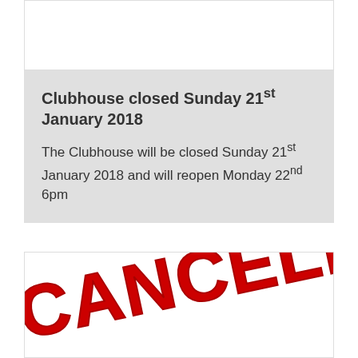Clubhouse closed Sunday 21st January 2018
The Clubhouse will be closed Sunday 21st January 2018 and will reopen Monday 22nd 6pm
[Figure (illustration): Large red bold text reading CANCELLED at an angle, stamp-style]